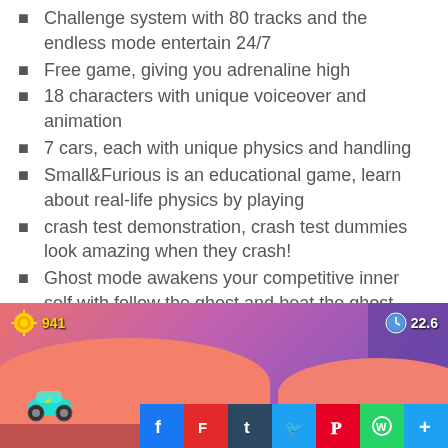Challenge system with 80 tracks and the endless mode entertain 24/7
Free game, giving you adrenaline high
18 characters with unique voiceover and animation
7 cars, each with unique physics and handling
Small&Furious is an educational game, learn about real-life physics by playing
crash test demonstration, crash test dummies look amazing when they crash!
Ghost mode awakens your competitive inner self with follow the ghost and beat the ghost modes!
[Figure (screenshot): Mobile game screenshot showing a colorful racing game (Small&Furious) with pink/red hills, a car, HUD showing coins (941) and timer (22.6), bookshelf background, and social share buttons (Facebook, Flipboard, Tumblr, Twitter, Pinterest, WhatsApp, Plus) at the bottom right.]